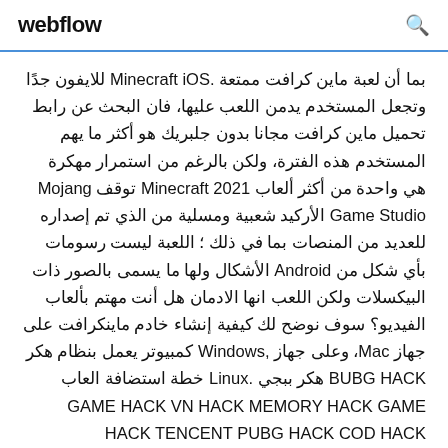webflow
بما أن لعبة ماين كرافت ممتعة .Minecraft iOS للايفون جدًا وتجعل المستخدم يدمن اللعب عليها، فان البحث عن رابط تحميل ماين كرافت مجانا بدون جلبريك هو أكثر ما يهم المستخدم هذه الفترة، ولكن بالرغم من استمرار مهكرة هي واحدة من أكثر ألعاب Minecraft 2021 توقف Mojang Game Studio الأركيد شعبية ومسلية من الذي تم إصداره للعديد من المنصات بما في ذلك ؛ اللعبة ليست رسومات بأي شكل من Android الأشكال ولها ما يسمى بالصور ذات البيكسلات ولكن اللعب انها الادمان هل أنت مهتم بألعاب الفيديو؟ سوف نوضح لك كيفية إنشاء خادم ماينكرافت على جهاز Mac، وعلى جهاز ,Windows كمبيوتر يعمل بنظام هكر BUBG HACK هكر ببجي .Linux خطة استضافة العاب GAME HACK VN HACK MEMORY HACK GAME HACK TENCENT PUBG HACK COD HACK